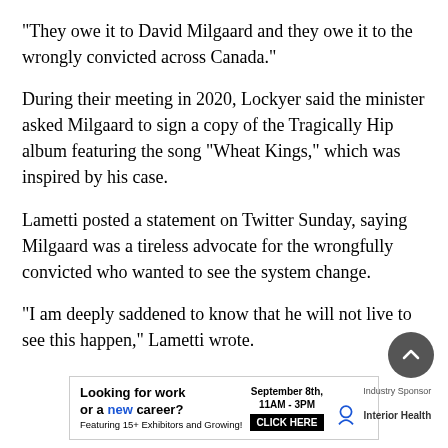“They owe it to David Milgaard and they owe it to the wrongly convicted across Canada.”
During their meeting in 2020, Lockyer said the minister asked Milgaard to sign a copy of the Tragically Hip album featuring the song “Wheat Kings,” which was inspired by his case.
Lametti posted a statement on Twitter Sunday, saying Milgaard was a tireless advocate for the wrongfully convicted who wanted to see the system change.
“I am deeply saddened to know that he will not live to see this happen,” Lametti wrote.
[Figure (infographic): Advertisement banner: 'Looking for work or a new career? Featuring 15+ Exhibitors and Growing!' with date September 8th, 11AM-3PM, CLICK HERE button, Industry Sponsor Interior Health logo.]